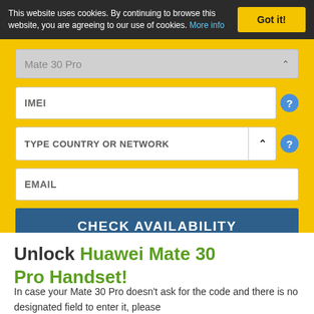This website uses cookies. By continuing to browse this website, you are agreeing to our use of cookies. More info
Got it!
Mate 30 Pro
IMEI
TYPE COUNTRY OR NETWORK
EMAIL
CHECK AVAILABILITY
*type the Network that your phone is locked to now
Unlock Huawei Mate 30 Pro Handset!
In case your Mate 30 Pro doesn't ask for the code and there is no designated field to enter it, please